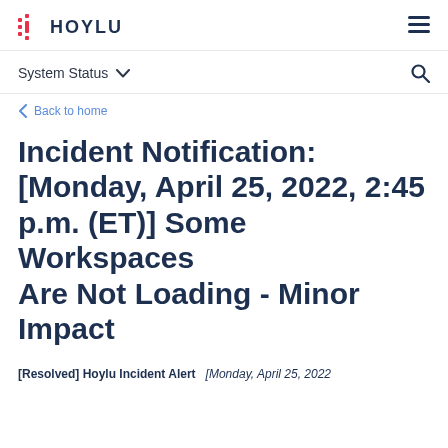HOYLU
System Status
< Back to home
Incident Notification: [Monday, April 25, 2022, 2:45 p.m. (ET)] Some Workspaces Are Not Loading - Minor Impact
[Resolved] Hoylu Incident Alert   [Monday, April 25, 2022